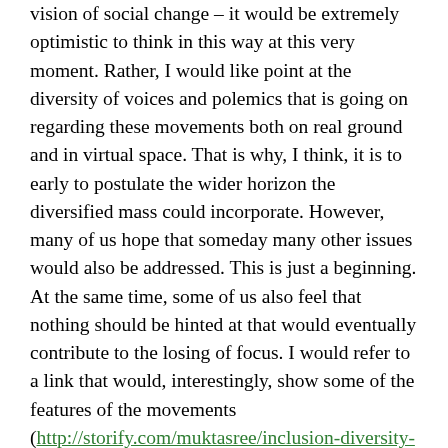vision of social change – it would be extremely optimistic to think in this way at this very moment. Rather, I would like point at the diversity of voices and polemics that is going on regarding these movements both on real ground and in virtual space. That is why, I think, it is to early to postulate the wider horizon the diversified mass could incorporate. However, many of us hope that someday many other issues would also be addressed. This is just a beginning. At the same time, some of us also feel that nothing should be hinted at that would eventually contribute to the losing of focus. I would refer to a link that would, interestingly, show some of the features of the movements (http://storify.com/muktasree/inclusion-diversity-in-shahbag). This write up has brought to fore one of the undercurrents of the movements that could transcend the boundary of masculinist ultra-nationalism. The movements, simultaneously, are helping to tear apart many of the 'classical stereotypes' about the definition,